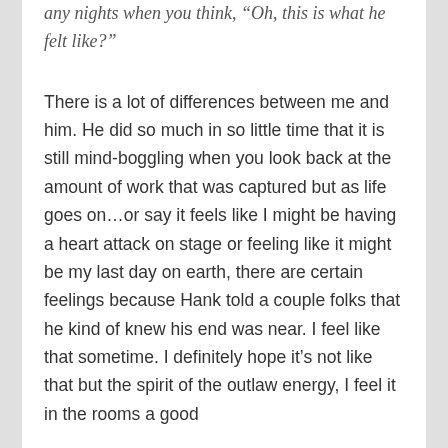any nights when you think, “Oh, this is what he felt like?”
There is a lot of differences between me and him. He did so much in so little time that it is still mind-boggling when you look back at the amount of work that was captured but as life goes on…or say it feels like I might be having a heart attack on stage or feeling like it might be my last day on earth, there are certain feelings because Hank told a couple folks that he kind of knew his end was near. I feel like that sometime. I definitely hope it’s not like that but the spirit of the outlaw energy, I feel it in the rooms a good